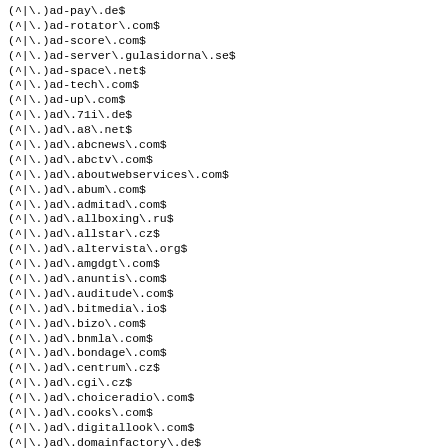(^|\.）ad-pay\.de$
(^|\.）ad-rotator\.com$
(^|\.）ad-score\.com$
(^|\.）ad-server\.gulasidorna\.se$
(^|\.）ad-space\.net$
(^|\.）ad-tech\.com$
(^|\.）ad-up\.com$
(^|\.）ad\.71i\.de$
(^|\.）ad\.a8\.net$
(^|\.）ad\.abcnews\.com$
(^|\.）ad\.abctv\.com$
(^|\.）ad\.aboutwebservices\.com$
(^|\.）ad\.abum\.com$
(^|\.）ad\.admitad\.com$
(^|\.）ad\.allboxing\.ru$
(^|\.）ad\.allstar\.cz$
(^|\.）ad\.altervista\.org$
(^|\.）ad\.amgdgt\.com$
(^|\.）ad\.anuntis\.com$
(^|\.）ad\.auditude\.com$
(^|\.）ad\.bitmedia\.io$
(^|\.）ad\.bizo\.com$
(^|\.）ad\.bnmla\.com$
(^|\.）ad\.bondage\.com$
(^|\.）ad\.centrum\.cz$
(^|\.）ad\.cgi\.cz$
(^|\.）ad\.choiceradio\.com$
(^|\.）ad\.cooks\.com$
(^|\.）ad\.digitallook\.com$
(^|\.）ad\.domainfactory\.de$
(^|\.）ad\.exyws\.org$
(^|\.）ad\.foxnetworks\.com$